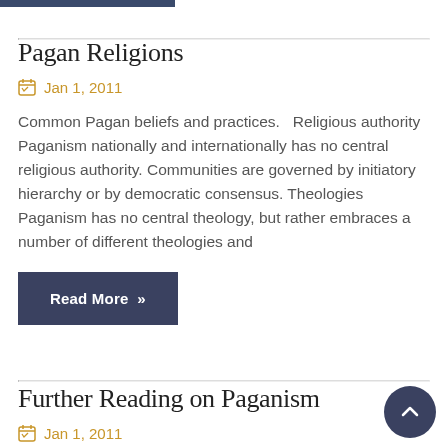Pagan Religions
Jan 1, 2011
Common Pagan beliefs and practices.   Religious authority Paganism nationally and internationally has no central religious authority. Communities are governed by initiatory hierarchy or by democratic consensus. Theologies Paganism has no central theology, but rather embraces a number of different theologies and
Read More »
Further Reading on Paganism
Jan 1, 2011